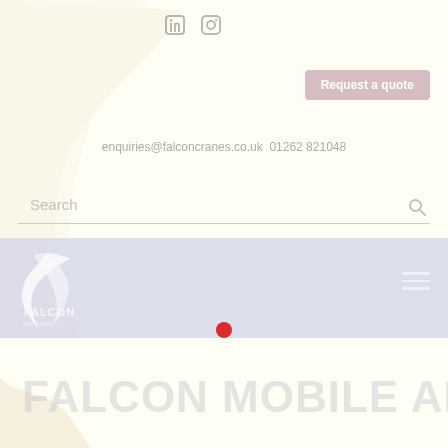[Figure (logo): LinkedIn and Instagram social media icons in top center]
Request a quote
enquiries@falconcranes.co.uk  01262 821048
Search
[Figure (logo): Falcon Crane Hire logo with white falcon graphic and FALCON text, in dark blue navigation bar]
[Figure (other): Red filled circle dot below navigation bar]
FALCON MOBILE APP